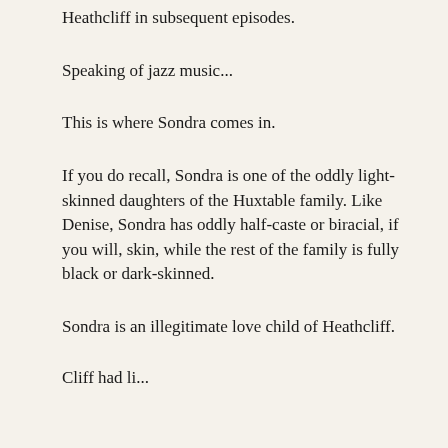Heathcliff in subsequent episodes.
Speaking of jazz music...
This is where Sondra comes in.
If you do recall, Sondra is one of the oddly light-skinned daughters of the Huxtable family. Like Denise, Sondra has oddly half-caste or biracial, if you will, skin, while the rest of the family is fully black or dark-skinned.
Sondra is an illegitimate love child of Heathcliff.
Cliff had li...